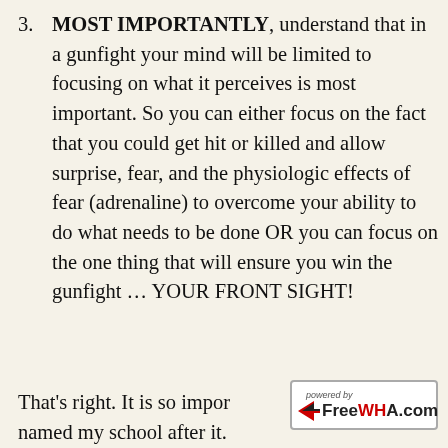3. MOST IMPORTANTLY, understand that in a gunfight your mind will be limited to focusing on what it perceives is most important. So you can either focus on the fact that you could get hit or killed and allow surprise, fear, and the physiologic effects of fear (adrenaline) to overcome your ability to do what needs to be done OR you can focus on the one thing that will ensure you win the gunfight … YOUR FRONT SIGHT!
That's right. It is so important that I named my school after it. By telling